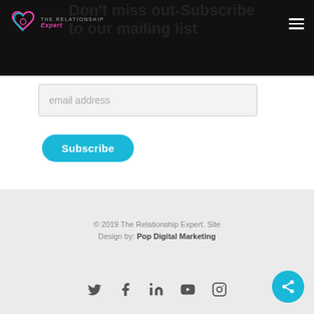The Relationship Expert logo and navigation
Don't miss out-Subscribe to our mailing list
email address
Subscribe
© 2019 The Relationship Expert. Site Design by: Pop Digital Marketing
[Figure (other): Social media icons row: Twitter, Facebook, LinkedIn, YouTube, Instagram]
[Figure (other): Cyan share button circle with share icon, bottom right corner]